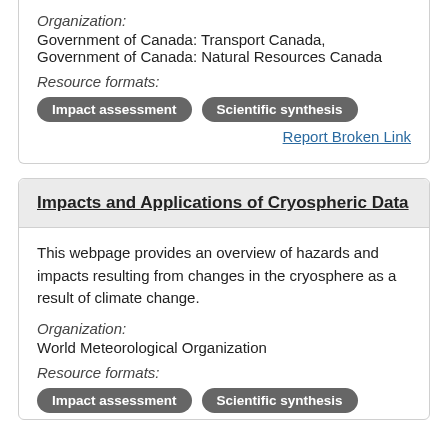Organization:
Government of Canada: Transport Canada, Government of Canada: Natural Resources Canada
Resource formats:
Impact assessment   Scientific synthesis
Report Broken Link
Impacts and Applications of Cryospheric Data
This webpage provides an overview of hazards and impacts resulting from changes in the cryosphere as a result of climate change.
Organization:
World Meteorological Organization
Resource formats:
Impact assessment   Scientific synthesis